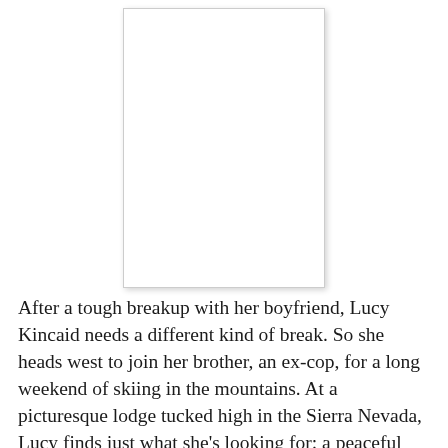[Figure (illustration): A book cover image displayed as a white rectangle with a drop shadow, positioned in the upper center of the page.]
After a tough breakup with her boyfriend, Lucy Kincaid needs a different kind of break. So she heads west to join her brother, an ex-cop, for a long weekend of skiing in the mountains. At a picturesque lodge tucked high in the Sierra Nevada, Lucy finds just what she's looking for: a peaceful retreat undisturbed by Internet, television, and cell phone distractions. She also finds an unexpected...